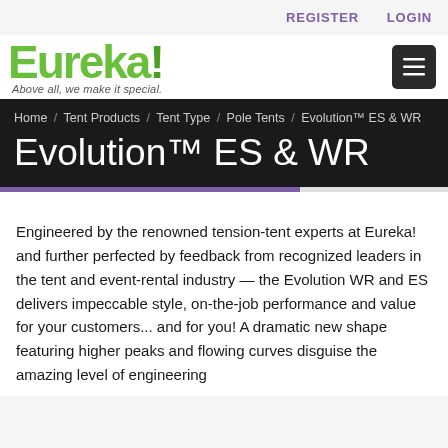REGISTER   LOGIN
[Figure (logo): Eureka! logo with green text and tagline 'Above all, we make it special.']
Home / Tent Products / Tent Type / Pole Tents / Evolution™ ES & WR
Evolution™ ES & WR
Engineered by the renowned tension-tent experts at Eureka! and further perfected by feedback from recognized leaders in the tent and event-rental industry — the Evolution WR and ES delivers impeccable style, on-the-job performance and value for your customers... and for you! A dramatic new shape featuring higher peaks and flowing curves disguise the amazing level of engineering